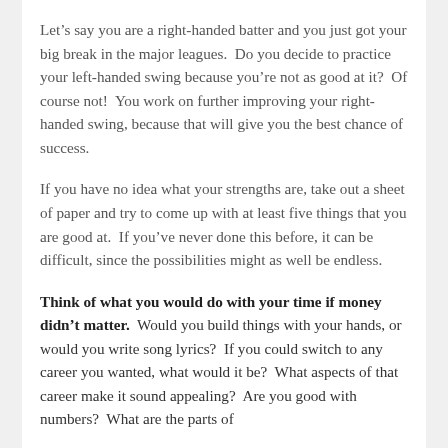Let’s say you are a right-handed batter and you just got your big break in the major leagues.  Do you decide to practice your left-handed swing because you’re not as good at it?  Of course not!  You work on further improving your right-handed swing, because that will give you the best chance of success.
If you have no idea what your strengths are, take out a sheet of paper and try to come up with at least five things that you are good at.  If you’ve never done this before, it can be difficult, since the possibilities might as well be endless.
Think of what you would do with your time if money didn’t matter.  Would you build things with your hands, or would you write song lyrics?  If you could switch to any career you wanted, what would it be?  What aspects of that career make it sound appealing?  Are you good with numbers?  What are the parts of